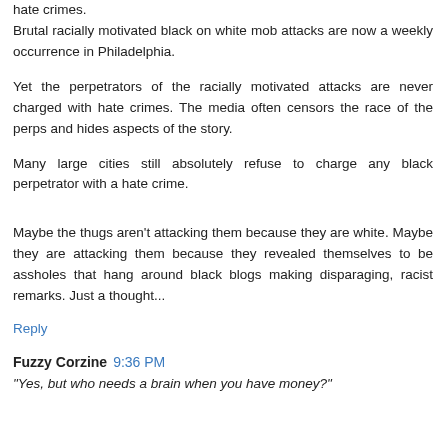hate crimes. Brutal racially motivated black on white mob attacks are now a weekly occurrence in Philadelphia.
Yet the perpetrators of the racially motivated attacks are never charged with hate crimes. The media often censors the race of the perps and hides aspects of the story.
Many large cities still absolutely refuse to charge any black perpetrator with a hate crime.
Maybe the thugs aren't attacking them because they are white. Maybe they are attacking them because they revealed themselves to be assholes that hang around black blogs making disparaging, racist remarks. Just a thought...
Reply
Fuzzy Corzine 9:36 PM
"Yes, but who needs a brain when you have money?"